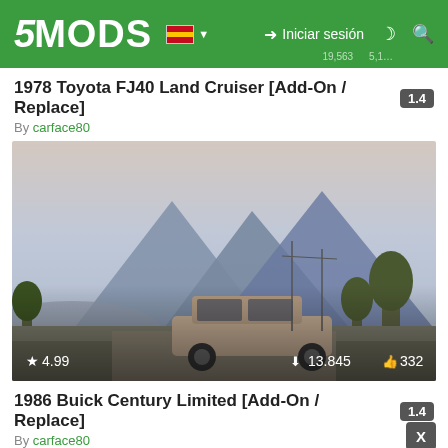5MODS — Iniciar sesión
1978 Toyota FJ40 Land Cruiser [Add-On / Replace]
By carface80
[Figure (screenshot): GTA V mod screenshot: sedan car parked in front of a large mountain at dusk, rating 4.99, downloads 13,845, likes 332]
1986 Buick Century Limited [Add-On / Replace]
By carface80
[Figure (screenshot): GTA V mod screenshot: partial view of a car in what appears to be an industrial/stadium area with chain-link fencing and stadium seating]